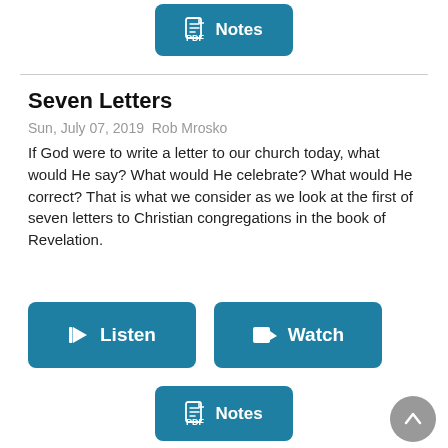[Figure (screenshot): Notes button (PDF icon + text) in teal/blue rounded rectangle at top]
Seven Letters
Sun, July 07, 2019  Rob Mrosko
If God were to write a letter to our church today, what would He say? What would He celebrate? What would He correct? That is what we consider as we look at the first of seven letters to Christian congregations in the book of Revelation.
[Figure (screenshot): Listen button (speaker icon + text) in teal/blue rounded rectangle]
[Figure (screenshot): Watch button (video camera icon + text) in teal/blue rounded rectangle]
[Figure (screenshot): Notes button (PDF icon + text) in teal/blue rounded rectangle at bottom]
[Figure (screenshot): Gray circular scroll-to-top button with upward chevron at bottom right]